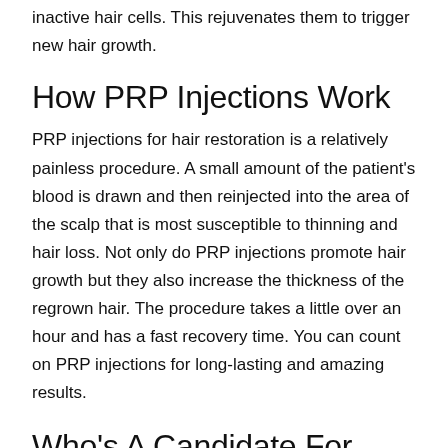inactive hair cells. This rejuvenates them to trigger new hair growth.
How PRP Injections Work
PRP injections for hair restoration is a relatively painless procedure. A small amount of the patient's blood is drawn and then reinjected into the area of the scalp that is most susceptible to thinning and hair loss. Not only do PRP injections promote hair growth but they also increase the thickness of the regrown hair. The procedure takes a little over an hour and has a fast recovery time. You can count on PRP injections for long-lasting and amazing results.
Who's A Candidate For PRP Hair Restoration?